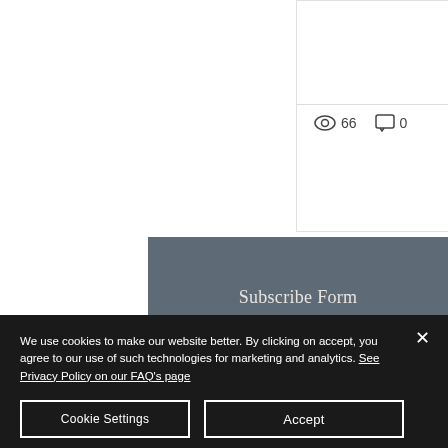[Figure (screenshot): Social interaction row with eye icon showing 66 views, comment icon showing 0 comments, and a red heart like button]
Subscribe Form
Email Address
Submit
We use cookies to make our website better. By clicking on accept, you agree to our use of such technologies for marketing and analytics. See Privacy Policy on our FAQ's page
Cookie Settings
Accept